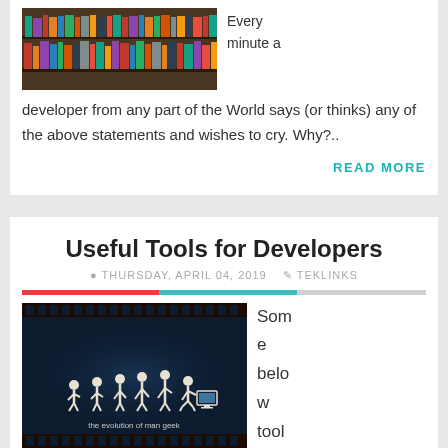[Figure (photo): Bookshelves with many books in a library]
Every minute a developer from any part of the World says (or thinks) any of the above statements and wishes to cry. Why?..
READ MORE
Useful Tools for Developers
THURSDAY, APRIL 04, 2019  TEKLINKS
[Figure (illustration): The evolution of man geek — silhouette illustration showing human evolution ending with a person at a computer, on a dark blue background with film strip border]
Some below tool